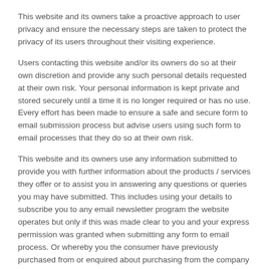This website and its owners take a proactive approach to user privacy and ensure the necessary steps are taken to protect the privacy of its users throughout their visiting experience.
Users contacting this website and/or its owners do so at their own discretion and provide any such personal details requested at their own risk. Your personal information is kept private and stored securely until a time it is no longer required or has no use. Every effort has been made to ensure a safe and secure form to email submission process but advise users using such form to email processes that they do so at their own risk.
This website and its owners use any information submitted to provide you with further information about the products / services they offer or to assist you in answering any questions or queries you may have submitted. This includes using your details to subscribe you to any email newsletter program the website operates but only if this was made clear to you and your express permission was granted when submitting any form to email process. Or whereby you the consumer have previously purchased from or enquired about purchasing from the company a product or service that the email newsletter